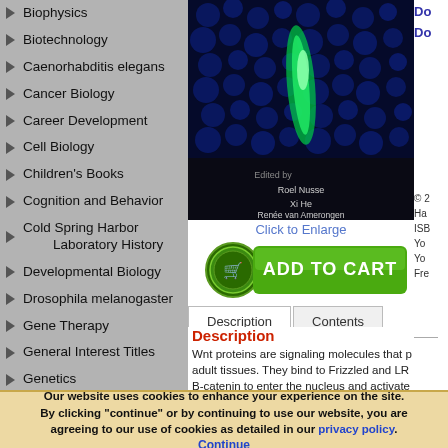Biophysics
Biotechnology
Caenorhabditis elegans
Cancer Biology
Career Development
Cell Biology
Children's Books
Cognition and Behavior
Cold Spring Harbor Laboratory History
Developmental Biology
Drosophila melanogaster
Gene Therapy
General Interest Titles
Genetics
Genomics
[Figure (photo): Book cover with fluorescence microscopy image of cells, edited by Roel Nusse, Xi He, Renée van Amerongen]
Click to Enlarge
[Figure (other): Add to Cart button]
Description | Contents tabs
Description
Wnt proteins are signaling molecules that p... adult tissues. They bind to Frizzled and LR... B-catenin to enter the nucleus and activate... 's
Our website uses cookies to enhance your experience on the site. By clicking "continue" or by continuing to use our website, you are agreeing to our use of cookies as detailed in our privacy policy. Continue